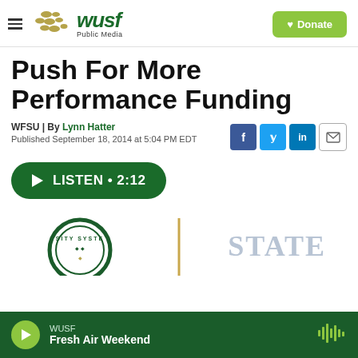[Figure (logo): WUSF Public Media logo with gold dots graphic and green WUSF wordmark]
[Figure (other): Green Donate button with heart icon]
Push For More Performance Funding
WFSU | By Lynn Hatter
Published September 18, 2014 at 5:04 PM EDT
[Figure (other): Social share icons: Facebook, Twitter, LinkedIn, Email]
[Figure (other): Green Listen button with play icon and duration 2:12]
[Figure (other): Partial university seal logo and STATE text with gold divider]
WUSF Fresh Air Weekend